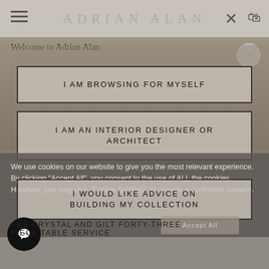ADRIAN ALAN
Welcome to Adrian Alan
I AM BROWSING FOR MYSELF
I AM AN INTERIOR DESIGNER OR ARCHITECT
We use cookies on our website to give you the most relevant experience. By clicking "Accept All", you consent to the use of ALL the cookies. However, you may visit "Cookie Settings" to provide a controlled consent.
I WOULD LIKE ADVICE ON BUILDING MY COLLECTION
Accept All
ARE CRYSTAL AND GILT FORTY-THREE PIECE TABLE SERVICE